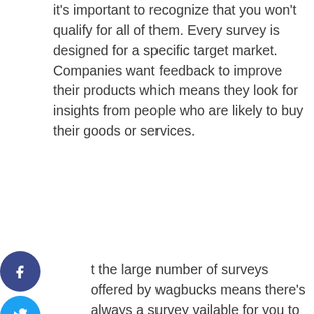it's important to recognize that you won't qualify for all of them. Every survey is designed for a specific target market. Companies want feedback to improve their products which means they look for insights from people who are likely to buy their goods or services.
[Figure (other): Social sharing sidebar with Facebook (dark blue circle with f), Twitter (light blue circle with bird icon), and Pinterest (red circle with p) buttons]
t the large number of surveys offered by wagbucks means there's always a survey vailable for you to attempt.
(4)  Watch Videos
Yes, you read that right. You can earn from 1 to 3 Swag Bucks for watching videos on varying topics. In my experience, videos are actually a series of 1-minute video clips. So, for example, you might watch 18 clips to earn 3 Swag Bucks. Some are